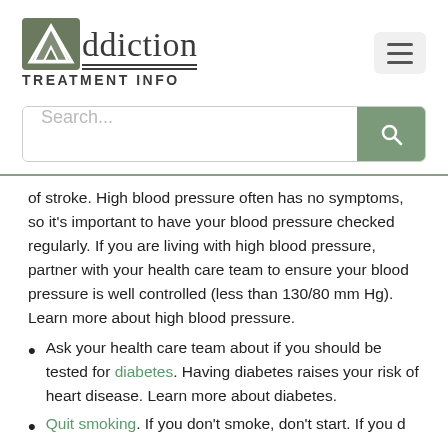[Figure (logo): Addiction Treatment Info logo with stylized 'A' icon and text]
Search...
of stroke. High blood pressure often has no symptoms, so it's important to have your blood pressure checked regularly. If you are living with high blood pressure, partner with your health care team to ensure your blood pressure is well controlled (less than 130/80 mm Hg). Learn more about high blood pressure.
Ask your health care team about if you should be tested for diabetes. Having diabetes raises your risk of heart disease. Learn more about diabetes.
Quit smoking. If you don't smoke, don't start. If you d...